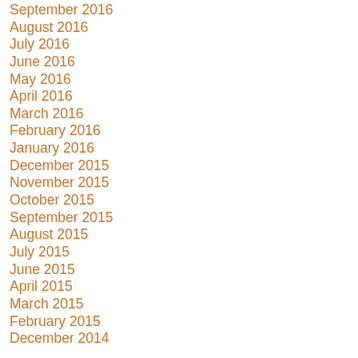September 2016
August 2016
July 2016
June 2016
May 2016
April 2016
March 2016
February 2016
January 2016
December 2015
November 2015
October 2015
September 2015
August 2015
July 2015
June 2015
April 2015
March 2015
February 2015
December 2014